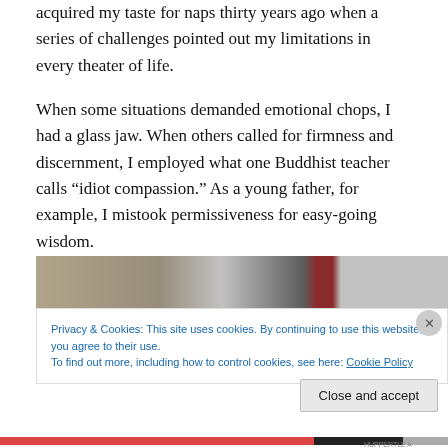acquired my taste for naps thirty years ago when a series of challenges pointed out my limitations in every theater of life.
When some situations demanded emotional chops, I had a glass jaw. When others called for firmness and discernment, I employed what one Buddhist teacher calls “idiot compassion.” As a young father, for example, I mistook permissiveness for easy-going wisdom.
[Figure (photo): A partially visible photograph showing what appears to be an indoor scene with muted tones, a dark object on the right side possibly a red and black item.]
Privacy & Cookies: This site uses cookies. By continuing to use this website, you agree to their use.
To find out more, including how to control cookies, see here: Cookie Policy
Close and accept